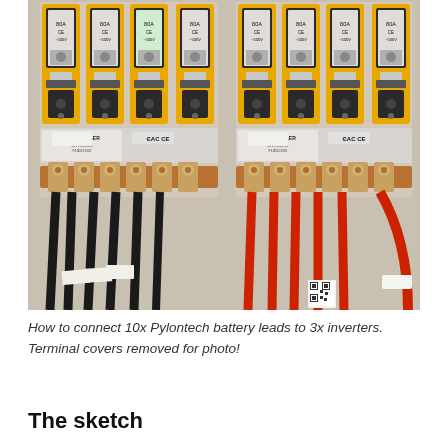[Figure (photo): Photograph showing electrical fuse/circuit breaker panels with yellow-framed fuse holders (80A, 500V, CE marked) and two rows of copper bus bars with terminal connections. Left side shows black cables; right side shows red/orange cables. Jean Müller brand terminal blocks visible with EAC CE markings. Used to illustrate how 10x Pylontech battery leads connect to 3x inverters.]
How to connect 10x Pylontech battery leads to 3x inverters. Terminal covers removed for photo!
The sketch